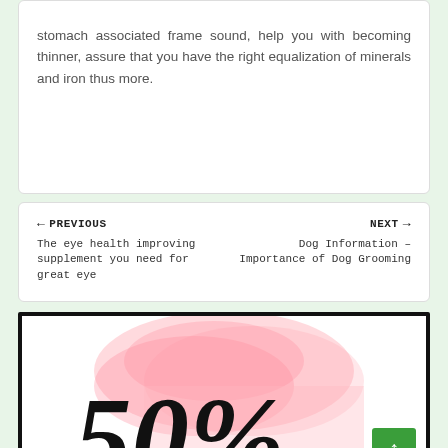stomach associated frame sound, help you with becoming thinner, assure that you have the right equalization of minerals and iron thus more.
← PREVIOUS
The eye health improving supplement you need for great eye
NEXT →
Dog Information – Importance of Dog Grooming
[Figure (illustration): Advertisement banner with black border showing '50%' text in large black script over a pink watercolor splash background, with a green scroll-to-top arrow button in the bottom right.]